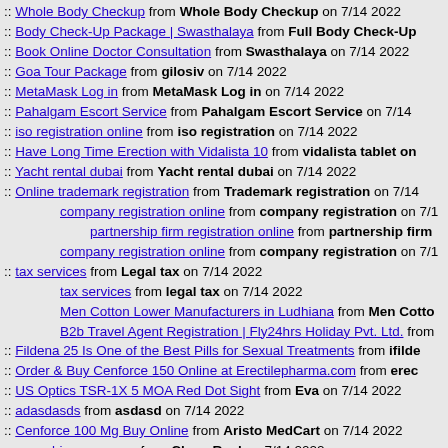:: Whole Body Checkup from Whole Body Checkup on 7/14 2022
:: Body Check-Up Package | Swasthalaya from Full Body Check-Up...
:: Book Online Doctor Consultation from Swasthalaya on 7/14 2022
:: Goa Tour Package from gilosiv on 7/14 2022
:: MetaMask Log in from MetaMask Log in on 7/14 2022
:: Pahalgam Escort Service from Pahalgam Escort Service on 7/14
:: iso registration online from iso registration on 7/14 2022
:: Have Long Time Erection with Vidalista 10 from vidalista tablet on...
:: Yacht rental dubai from Yacht rental dubai on 7/14 2022
:: Online trademark registration from Trademark registration on 7/14
company registration online from company registration on 7/1
partnership firm registration online from partnership firm
company registration online from company registration on 7/1
:: tax services from Legal tax on 7/14 2022
tax services from legal tax on 7/14 2022
Men Cotton Lower Manufacturers in Ludhiana from Men Cotto
B2b Travel Agent Registration | Fly24hrs Holiday Pvt. Ltd. from
:: Fildena 25 Is One of the Best Pills for Sexual Treatments from ifilde
:: Order & Buy Cenforce 150 Online at Erectilepharma.com from erec
:: US Optics TSR-1X 5 MOA Red Dot Sight from Eva on 7/14 2022
:: adasdasds from asdasd on 7/14 2022
:: Cenforce 100 Mg Buy Online from Aristo MedCart on 7/14 2022
:: cannabisgearrs.com from Cham Raul on 7/14 2022
:: sildalist medicine Remove ED Problem [Safe & Buy on flatmeds] fro
:: Koin138 from Koin138 on 7/14 2022
:: Extra Super Zhewitra | Vardenafil | Dapoxetine +[10% OFF] from Ph
:: marijuana canada from marijuana canada on 7/14 2022
:: Chennai Escorts - ChennaiBeauties from Chennai Beauties on 7/1
:: ESCORT from LOVELY on 7/14 2022
escorts from escorts on 7/18 2022
ESCORT from LOVELY on 7/14 2022